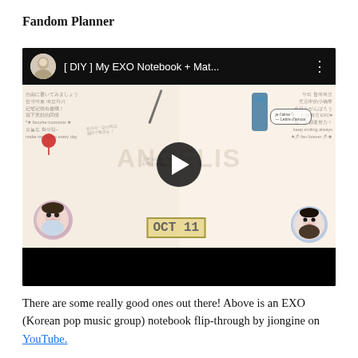Fandom Planner
[Figure (screenshot): YouTube video embed showing a DIY EXO Notebook flipthrough. The video thumbnail shows an open decorated notebook with Korean writing, anime-style drawings, stickers, and the text OCT 11. The YouTube top bar shows a circular avatar, the title '[ DIY ] My EXO Notebook + Mat...' and a three-dot menu. A dark play button circle overlays the center. A black control bar appears at the bottom.]
There are some really good ones out there! Above is an EXO (Korean pop music group) notebook flip-through by jiongine on YouTube.